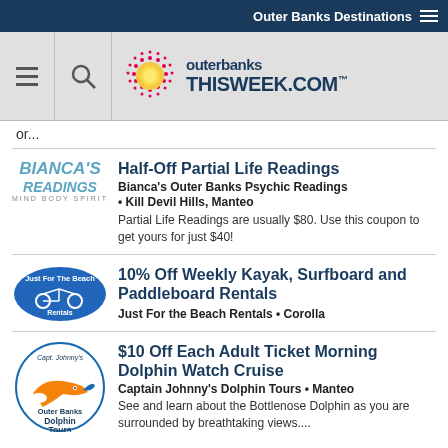Outer Banks Destinations
[Figure (logo): OuterBanksThisWeek.com logo with sun graphic]
or...
[Figure (logo): Bianca's Readings - Mind Body Spirit logo]
Half-Off Partial Life Readings
Bianca's Outer Banks Psychic Readings
Kill Devil Hills, Manteo
Partial Life Readings are usually $80. Use this coupon to get yours for just $40!
[Figure (logo): Just For the Beach Rentals logo - blue oval]
10% Off Weekly Kayak, Surfboard and Paddleboard Rentals
Just For the Beach Rentals • Corolla
[Figure (logo): Capt. Johnny's Outer Banks Dolphin Tours logo]
$10 Off Each Adult Ticket Morning Dolphin Watch Cruise
Captain Johnny's Dolphin Tours • Manteo
See and learn about the Bottlenose Dolphin as you are surrounded by breathtaking views....